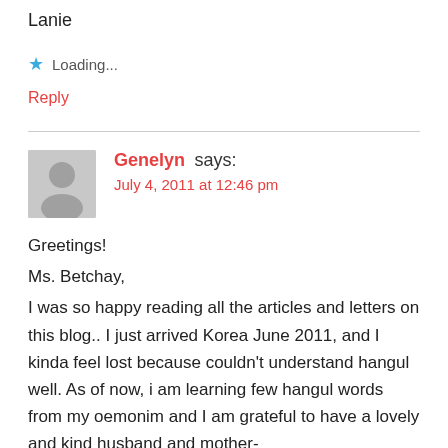Lanie
★ Loading...
Reply
Genelyn says:
July 4, 2011 at 12:46 pm
Greetings!
Ms. Betchay,
I was so happy reading all the articles and letters on this blog.. I just arrived Korea June 2011, and I kinda feel lost because couldn't understand hangul well. As of now, i am learning few hangul words from my oemonim and I am grateful to have a lovely and kind husband and mother-